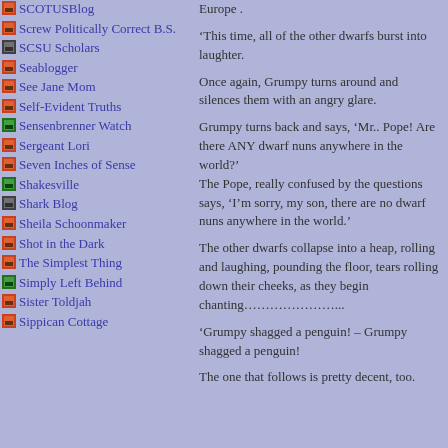SCOTUSBlog
Screw Politically Correct B.S.
SCSU Scholars
Seablogger
See Jane Mom
Self-Evident Truths
Sensenbrenner Watch
Sergeant Lori
Seven Inches of Sense
Shakesville
Shark Blog
Sheila Schoonmaker
Shot in the Dark
The Simplest Thing
Simply Left Behind
Sister Toldjah
Sippican Cottage
Europe .
‘This time, all of the other dwarfs burst into laughter.
Once again, Grumpy turns around and silences them with an angry glare.
Grumpy turns back and says, ‘Mr.. Pope! Are there ANY dwarf nuns anywhere in the world?’
The Pope, really confused by the questions says, ‘I’m sorry, my son, there are no dwarf nuns anywhere in the world.’
The other dwarfs collapse into a heap, rolling and laughing, pounding the floor, tears rolling down their cheeks, as they begin chanting…………………...
‘Grumpy shagged a penguin! – Grumpy shagged a penguin!
The one that follows is pretty decent, too.